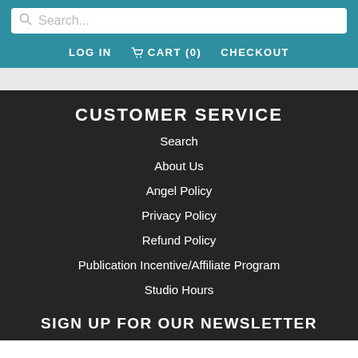Search... LOG IN  CART (0)  CHECKOUT
CUSTOMER SERVICE
Search
About Us
Angel Policy
Privacy Policy
Refund Policy
Publication Incentive/Affiliate Program
Studio Hours
SIGN UP FOR OUR NEWSLETTER